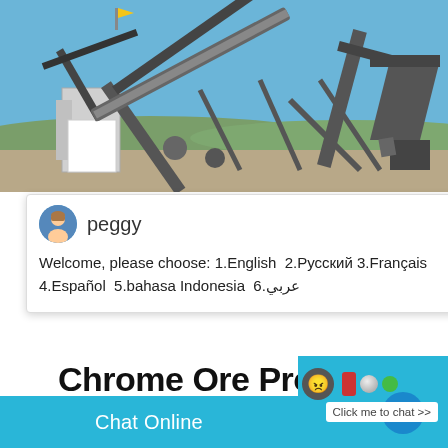[Figure (photo): Industrial chrome ore processing plant machinery with conveyor belts against a blue sky backdrop]
peggy
Welcome, please choose: 1.English  2.Русский 3.Français  4.Español  5.bahasa Indonesia  6.عربي
Chrome Ore Process Plant How To Process
2015-7-14   Ore with a Power grade mus
Chat Online
Enquiry
cywaitml
@gmail.com